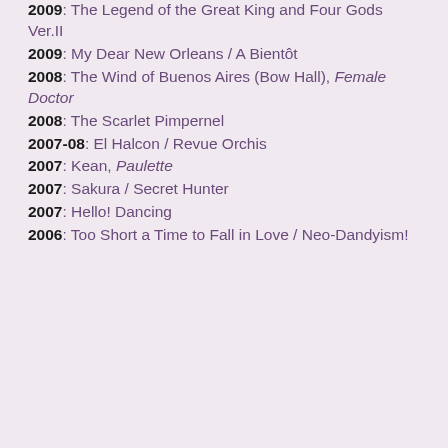2009: The Legend of the Great King and Four Gods Ver.II
2009: My Dear New Orleans / A Bientôt
2008: The Wind of Buenos Aires (Bow Hall), Female Doctor
2008: The Scarlet Pimpernel
2007-08: El Halcon / Revue Orchis
2007: Kean, Paulette
2007: Sakura / Secret Hunter
2007: Hello! Dancing
2006: Too Short a Time to Fall in Love / Neo-Dandyism!